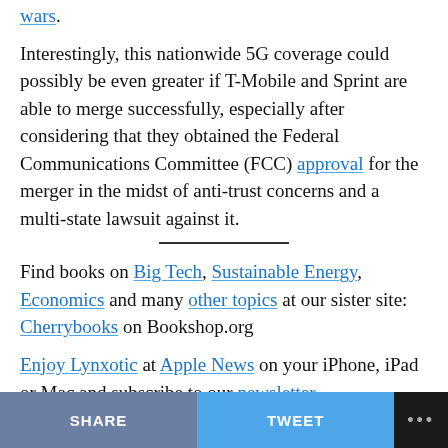wars.
Interestingly, this nationwide 5G coverage could possibly be even greater if T-Mobile and Sprint are able to merge successfully, especially after considering that they obtained the Federal Communications Committee (FCC) approval for the merger in the midst of anti-trust concerns and a multi-state lawsuit against it.
Find books on Big Tech, Sustainable Energy, Economics and many other topics at our sister site: Cherrybooks on Bookshop.org
Enjoy Lynxotic at Apple News on your iPhone, iPad or Mac and subscribe to our newsletter.
Lynxotic may receive a small commission based on any purchases made by following links from this page.
SHARE   TWEET   ...